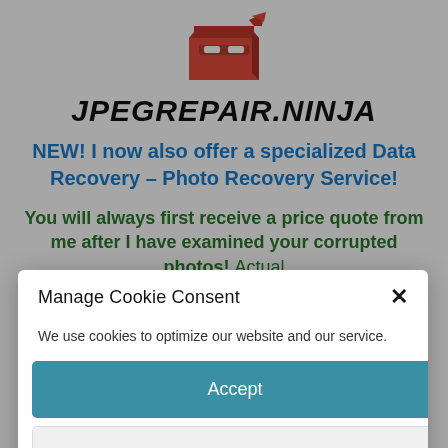[Figure (logo): Red ninja/box logo for jpegrepair.ninja website]
JPEGREPAIR.NINJA
NEW! I now also offer a specialized Data Recovery – Photo Recovery Service!
You will always first receive a price quote from me after I have examined your corrupted photos! Actual
Manage Cookie Consent
We use cookies to optimize our website and our service.
Accept
Deny
Pref...